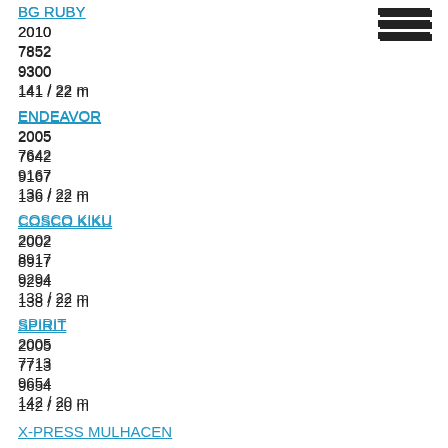BG RUBY
2010
7852
9300
141 / 22 m
ENDEAVOR
2005
7642
9167
136 / 22 m
COSCO KIKU
2002
8917
9294
138 / 22 m
SPIRIT
2005
7713
9654
142 / 20 m
X-PRESS MULHACEN
2008
7702
9620
142 / 20 m
SAMSKIP INNOVATOR
2011
7852